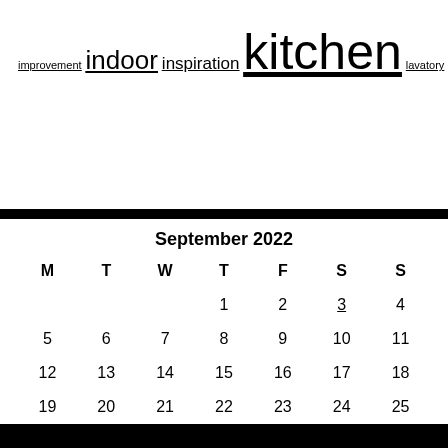improvement indoor inspiration kitchen lavatory modern office online ornaments plants remodel remodeling renovation residence rework reworking small store tables transform transforming trendy warehouse workplace
| M | T | W | T | F | S | S |
| --- | --- | --- | --- | --- | --- | --- |
|  |  |  | 1 | 2 | 3 | 4 |
| 5 | 6 | 7 | 8 | 9 | 10 | 11 |
| 12 | 13 | 14 | 15 | 16 | 17 | 18 |
| 19 | 20 | 21 | 22 | 23 | 24 | 25 |